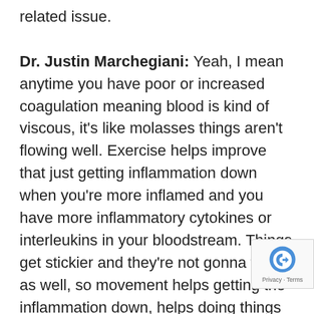related issue.

Dr. Justin Marchegiani: Yeah, I mean anytime you have poor or increased coagulation meaning blood is kind of viscous, it's like molasses things aren't flowing well. Exercise helps improve that just getting inflammation down when you're more inflamed and you have more inflammatory cytokines or interleukins in your bloodstream. Things get stickier and they're not gonna flow as well, so movement helps getting the inflammation down, helps doing things like ginger tea. Ginger can be helpful. Fish oil is a natural blood thinner so you talk about fish oil.